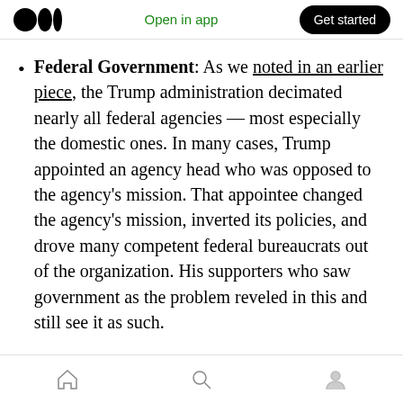Open in app   Get started
Federal Government: As we noted in an earlier piece, the Trump administration decimated nearly all federal agencies — most especially the domestic ones. In many cases, Trump appointed an agency head who was opposed to the agency's mission. That appointee changed the agency's mission, inverted its policies, and drove many competent federal bureaucrats out of the organization. His supporters who saw government as the problem reveled in this and still see it as such.
Home  Search  Profile